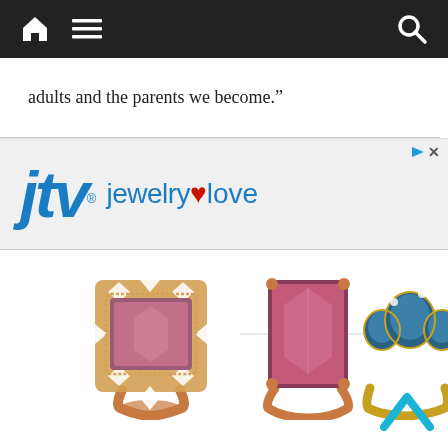Navigation bar with home, menu, and search icons
adults and the parents we become.”
[Figure (advertisement): JTV Jewelry Love advertisement banner with logo showing 'jtv jewelrylove' in blue text with red heart, and three gemstone rings displayed below]
[Figure (photo): Three jewelry rings: left ring is rose gold with large square pink/mauve gemstone surrounded by diamond halo; center ring is rose gold with large rectangular pink/red gemstone flanked by triangle diamonds; right ring is yellow gold with three blue gemstones and diamond accents]